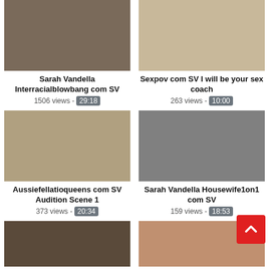[Figure (photo): Video thumbnail for Sarah Vandella Interracialblowbang com SV]
Sarah Vandella Interracialblowbang com SV
1506 views - 29:18
[Figure (photo): Video thumbnail for Sexpov com SV I will be your sex coach]
Sexpov com SV I will be your sex coach
263 views - 10:00
[Figure (photo): Video thumbnail for Aussiefellatioqueens com SV Audition Scene 1]
Aussiefellatioqueens com SV Audition Scene 1
373 views - 20:34
[Figure (photo): Video thumbnail for Sarah Vandella Housewife1on1 com SV]
Sarah Vandella Housewife1on1 com SV
159 views - 18:53
[Figure (photo): Video thumbnail row 3 left]
[Figure (photo): Video thumbnail row 3 right]